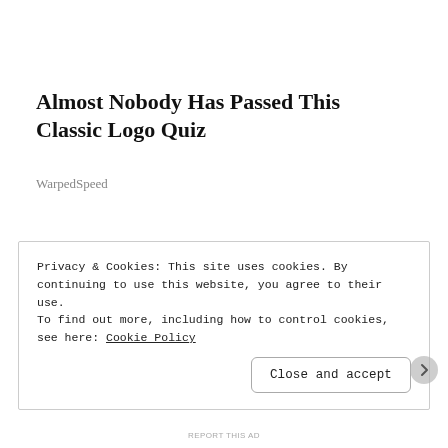Almost Nobody Has Passed This Classic Logo Quiz
WarpedSpeed
Privacy & Cookies: This site uses cookies. By continuing to use this website, you agree to their use.
To find out more, including how to control cookies, see here: Cookie Policy
Close and accept
REPORT THIS AD